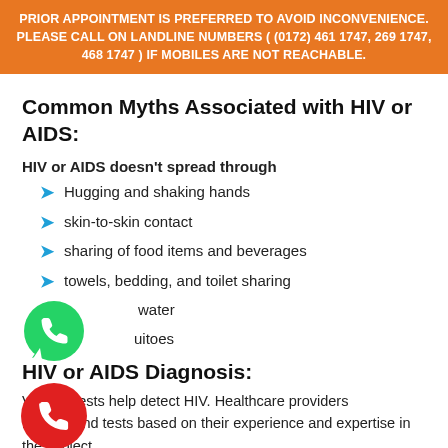PRIOR APPOINTMENT IS PREFERRED TO AVOID INCONVENIENCE. PLEASE CALL ON LANDLINE NUMBERS ( (0172) 461 1747, 269 1747, 468 1747 ) IF MOBILES ARE NOT REACHABLE.
Common Myths Associated with HIV or AIDS:
HIV or AIDS doesn't spread through
Hugging and shaking hands
skin-to-skin contact
sharing of food items and beverages
towels, bedding, and toilet sharing
water
uitoes
HIV or AIDS Diagnosis:
Various tests help detect HIV. Healthcare providers recommend tests based on their experience and expertise in the subject